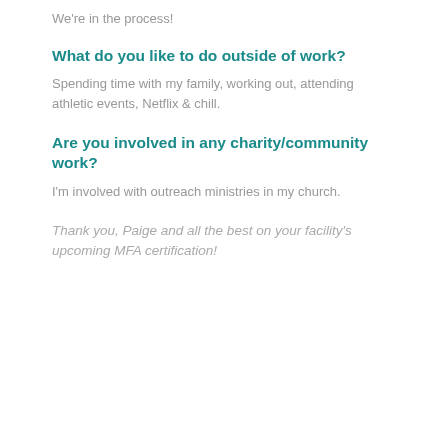We're in the process!
What do you like to do outside of work?
Spending time with my family, working out, attending athletic events, Netflix & chill.
Are you involved in any charity/community work?
I'm involved with outreach ministries in my church.
Thank you, Paige and all the best on your facility's upcoming MFA certification!